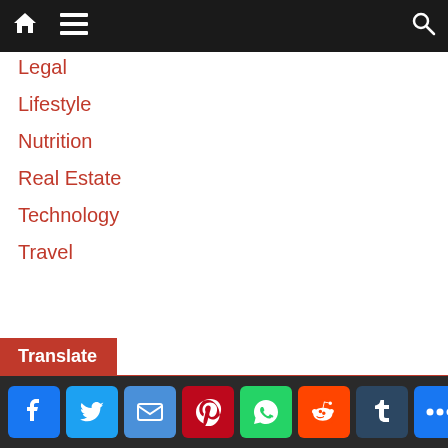Navigation bar with home, menu, and search icons
Legal
Lifestyle
Nutrition
Real Estate
Technology
Travel
Translate
Select Language — Powered by Google Translate
Social share icons: Facebook, Twitter, Email, Pinterest, WhatsApp, Reddit, Tumblr, More